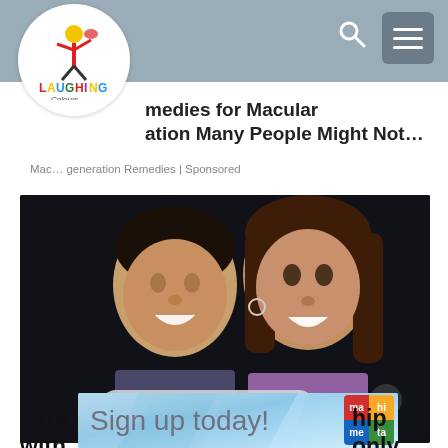Laughing Colours — navigation bar with logo, search, and menu
medies for Macular ation Many People Might Not…
Mac… generation Remedies | Sponsored
[Figure (photo): Two people smiling together — a man and a woman — photographed against a dark background. ADVERTISEMENT label and X close button overlaid on photo.]
[Figure (infographic): Blue geometric advertisement banner with 'Sign up today!' text and a colored ma/hi/me/ta logo grid]
Lara … hip with … only…